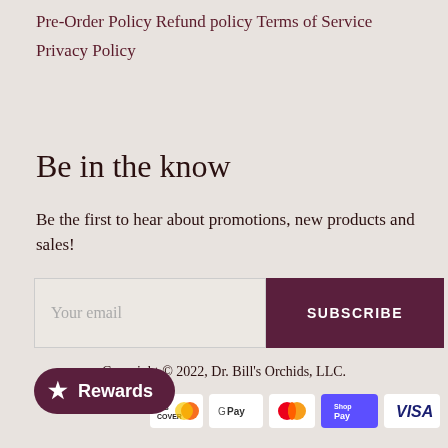Pre-Order Policy
Refund policy
Terms of Service
Privacy Policy
Be in the know
Be the first to hear about promotions, new products and sales!
[Figure (other): Email subscription input with Your email placeholder and SUBSCRIBE button]
Copyright © 2022, Dr. Bill's Orchids, LLC.
[Figure (other): Payment method icons: Discover, Google Pay, Mastercard, Shop Pay, Visa]
[Figure (other): Rewards button with star icon]